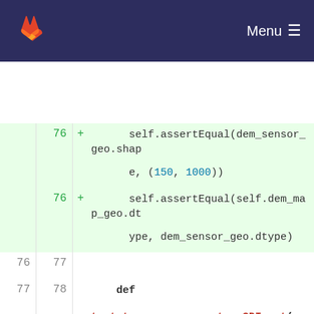GitLab Menu
[Figure (screenshot): Code diff view showing Python test file with line numbers, added lines (green), removed lines (red), and normal lines. Code includes assertEqual assertions and a function definition test_to_sensor_geometry_3DInput.]